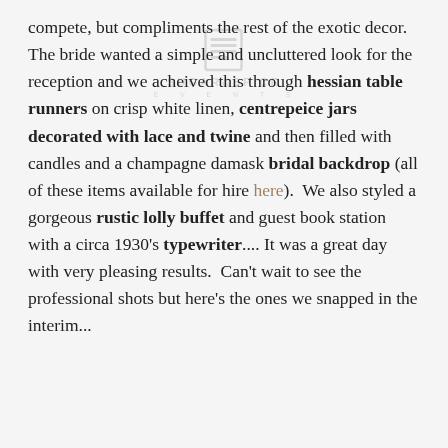[Figure (logo): Sugar and Spice Events watermark logo with document icon and text 'SUGAR & SPICE EVENTS']
compete, but compliments the rest of the exotic decor. The bride wanted a simple and uncluttered look for the reception and we acheived this through hessian table runners on crisp white linen, centrepeice jars decorated with lace and twine and then filled with candles and a champagne damask bridal backdrop (all of these items available for hire here).  We also styled a gorgeous rustic lolly buffet and guest book station with a circa 1930's typewriter.... It was a great day with very pleasing results.  Can't wait to see the professional shots but here's the ones we snapped in the interim...